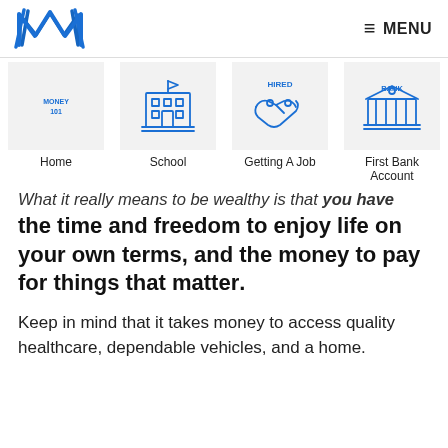[Figure (logo): Blue stylized M logo for Money 101 website]
≡ MENU
[Figure (infographic): Navigation icons row: Home (Money 101 icon), School (building with flag), Getting A Job (handshake with HIRED sign), First Bank Account (bank building), partially visible fifth item]
What it really means to be wealthy is that you have the time and freedom to enjoy life on your own terms, and the money to pay for things that matter.
Keep in mind that it takes money to access quality healthcare, dependable vehicles, and a home.